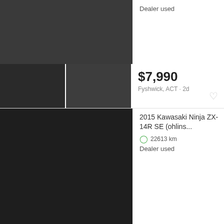[Figure (photo): Partial listing 1 at top: dark motorcycle main image and two smaller thumbnails]
Dealer used
$7,990
Fyshwick, ACT · 2d
[Figure (photo): 2015 Kawasaki Ninja ZX-14R SE main image - black sportbike]
2015 Kawasaki Ninja ZX-14R SE (ohlins...
22613 km
Dealer used
$16,350
Blacktown, NSW · 2d
[Figure (photo): Kawasaki ZX9R Ninja 1994 blue sportbike]
Kawasaki ZX9R Ninja 1994 model, Low ...
900 cc
35484 km
Road
$5,500
Braeside, VIC · 2d
[Figure (photo): Partial listing at bottom, partially visible motorcycle thumbnail]